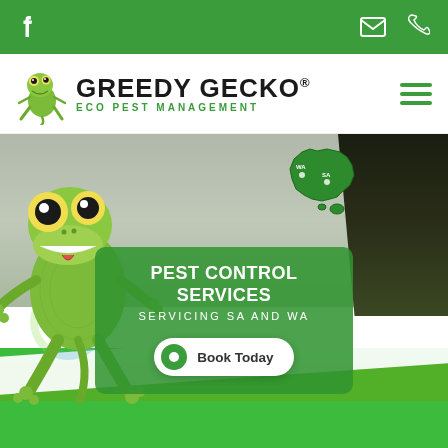[Figure (screenshot): Top green navigation bar with Facebook icon on left, envelope and phone icons on right]
[Figure (logo): Greedy Gecko Eco Pest Management logo with gecko mascot, company name in bold black text and green subtitle]
[Figure (illustration): Hero section with animated green gecko mascot, background landscape, Australia map overlay, green overlay box with text PEST CONTROL SERVICES, SERVICING SA AND WA, and Book Today button]